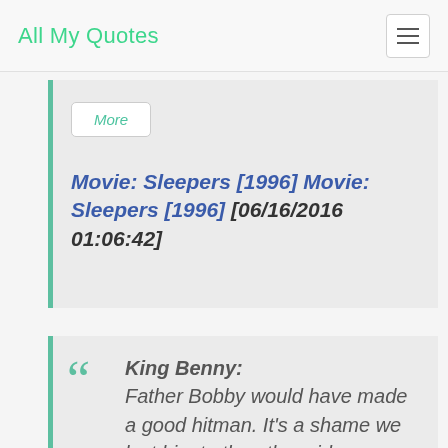All My Quotes
More
Movie: Sleepers [1996] Movie: Sleepers [1996] [06/16/2016 01:06:42]
King Benny: Father Bobby would have made a good hitman. It's a shame we lost him to the other side.